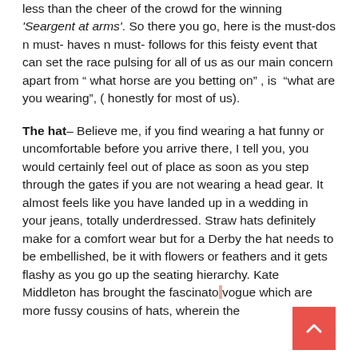less than the cheer of the crowd for the winning 'Seargent at arms'. So there you go, here is the must-dos n must- haves n must- follows for this feisty event that can set the race pulsing for all of us as our main concern apart from " what horse are you betting on" , is  "what are you wearing", ( honestly for most of us).
The hat– Believe me, if you find wearing a hat funny or uncomfortable before you arrive there, I tell you, you would certainly feel out of place as soon as you step through the gates if you are not wearing a head gear. It almost feels like you have landed up in a wedding in your jeans, totally underdressed. Straw hats definitely make for a comfort wear but for a Derby the hat needs to be embellished, be it with flowers or feathers and it gets flashy as you go up the seating hierarchy. Kate Middleton has brought the fascinator vogue which are more fussy cousins of hats, wherein the